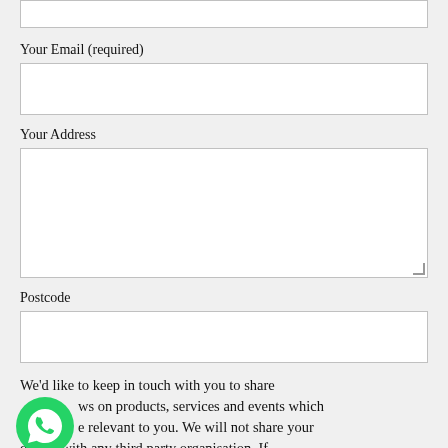[Figure (other): Top partial input field (cropped from above)]
Your Email (required)
[Figure (other): Email input text field (empty)]
Your Address
[Figure (other): Address textarea input field (empty, resizable)]
Postcode
[Figure (other): Postcode input text field (empty)]
We’d like to keep in touch with you to share ws on products, services and events which e relevant to you. We will not share your details with any third party organisation. If
[Figure (other): WhatsApp icon (green circle with phone handset)]